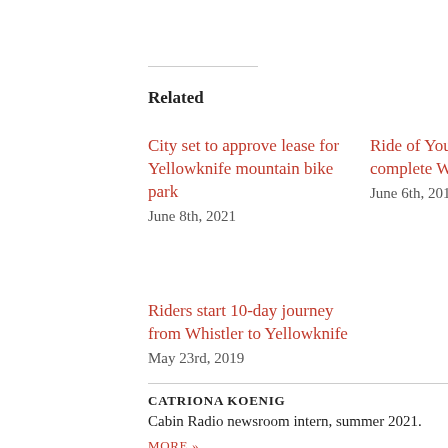Related
City set to approve lease for Yellowknife mountain bike park
June 8th, 2021
Ride of Your Life: Cyclists complete Whistler-YK ride
June 6th, 2019
Riders start 10-day journey from Whistler to Yellowknife
May 23rd, 2019
CATRIONA KOENIG
Cabin Radio newsroom intern, summer 2021.
MORE »